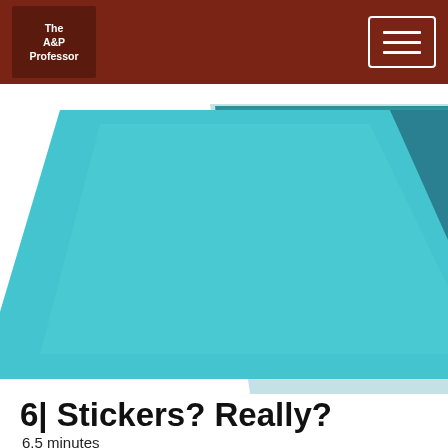The A&P Professor
[Figure (photo): Stack of teal/turquoise colored papers or folders photographed from a low angle against white background]
6| Stickers? Really?
6.5 minutes
[Figure (photo): Exam booklet with stickers of cartoon figures, showing student name Claude Bernard written in cursive, with score 98/100 and note 'Great insights on homeostasis!']